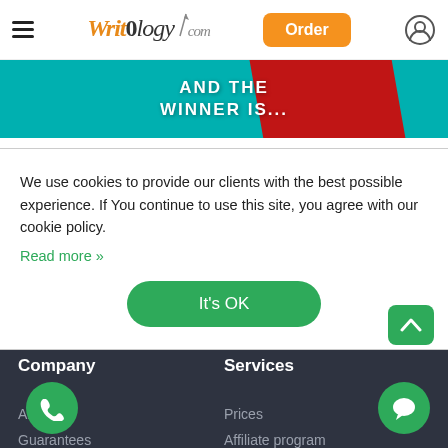WritOlogy.com — Order
[Figure (screenshot): Banner with teal background and red ribbon, text: AND THE WINNER IS...]
We use cookies to provide our clients with the best possible experience. If You continue to use this site, you agree with our cookie policy. Read more »
It's OK
Company
Services
About us
Prices
Guarantees
Affiliate program
FAQ
Additional Payment
How it works
VIP Services